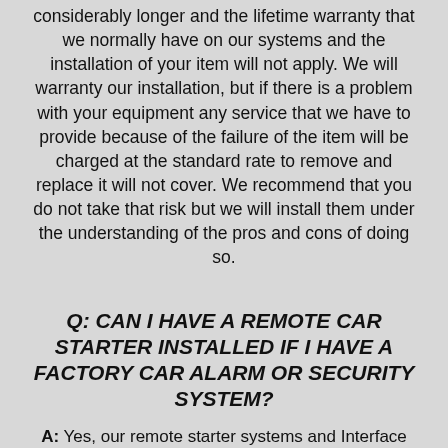considerably longer and the lifetime warranty that we normally have on our systems and the installation of your item will not apply. We will warranty our installation, but if there is a problem with your equipment any service that we have to provide because of the failure of the item will be charged at the standard rate to remove and replace it will not cover. We recommend that you do not take that risk but we will install them under the understanding of the pros and cons of doing so.
Q: CAN I HAVE A REMOTE CAR STARTER INSTALLED IF I HAVE A FACTORY CAR ALARM OR SECURITY SYSTEM?
A: Yes, our remote starter systems and Interface Modules can be integrated to work with factory